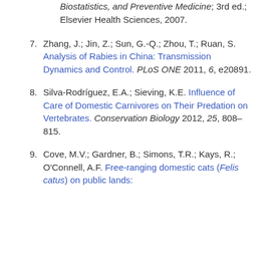(continuation of previous reference) Biostatistics, and Preventive Medicine; 3rd ed.; Elsevier Health Sciences, 2007.
7. Zhang, J.; Jin, Z.; Sun, G.-Q.; Zhou, T.; Ruan, S. Analysis of Rabies in China: Transmission Dynamics and Control. PLoS ONE 2011, 6, e20891.
8. Silva-Rodríguez, E.A.; Sieving, K.E. Influence of Care of Domestic Carnivores on Their Predation on Vertebrates. Conservation Biology 2012, 25, 808–815.
9. Cove, M.V.; Gardner, B.; Simons, T.R.; Kays, R.; O'Connell, A.F. Free-ranging domestic cats (Felis catus) on public lands;